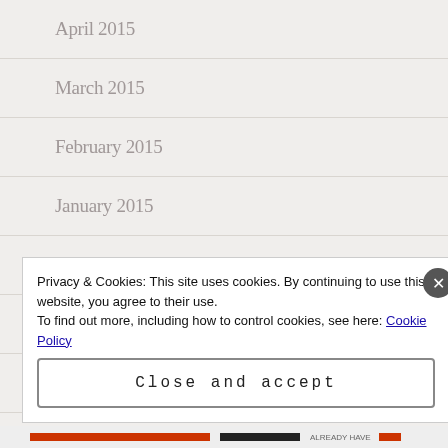April 2015
March 2015
February 2015
January 2015
December 2014
November 2014
October 2014
Privacy & Cookies: This site uses cookies. By continuing to use this website, you agree to their use. To find out more, including how to control cookies, see here: Cookie Policy
Close and accept